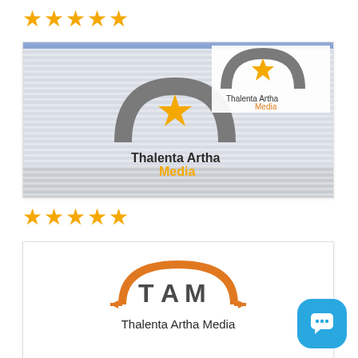[Figure (other): Five orange star rating icons at the top of the page]
[Figure (photo): Photo of a Thalenta Artha Media office/store with glass walls showing the company logo (star + arch + text), with the Thalenta Artha Media logo overlaid in the upper right corner]
[Figure (other): Five orange star rating icons in the middle of the page]
[Figure (logo): Thalenta Artha Media logo: orange circle arc with TAM letters and tagline 'Thalenta Artha Media' below]
[Figure (other): Blue rounded square chat button with speech bubble icon in bottom right]